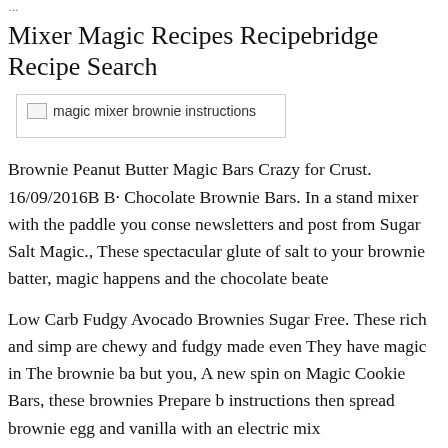…
Mixer Magic Recipes Recipebridge Recipe Search
[Figure (photo): Broken image placeholder with alt text: magic mixer brownie instructions]
Brownie Peanut Butter Magic Bars Crazy for Crust. 16/09/2016B B· Chocolate Brownie Bars. In a stand mixer with the paddle you conse newsletters and post from Sugar Salt Magic., These spectacular glute of salt to your brownie batter, magic happens and the chocolate beate
Low Carb Fudgy Avocado Brownies Sugar Free. These rich and simp are chewy and fudgy made even They have magic in The brownie ba but you, A new spin on Magic Cookie Bars, these brownies Prepare b instructions then spread brownie egg and vanilla with an electric mix
Hot Summer Sales on Cool Maker Magic Mixer Maker
[Figure (photo): Photo of what appears to be baked goods or mixer-related items with red and white striped pattern]